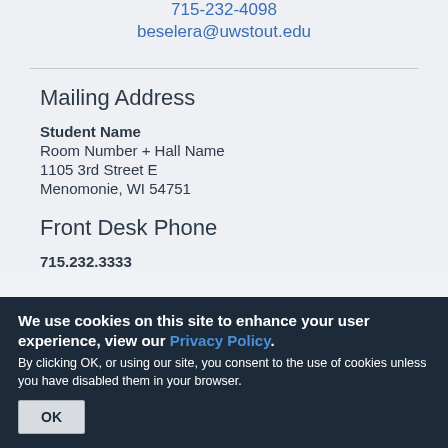715-232-4098
beselera@uwstout.edu
Mailing Address
Student Name
Room Number + Hall Name
1105 3rd Street E
Menomonie, WI 54751
Front Desk Phone
715.232.3333
We use cookies on this site to enhance your user experience, view our Privacy Policy.
By clicking OK, or using our site, you consent to the use of cookies unless you have disabled them in your browser.
OK